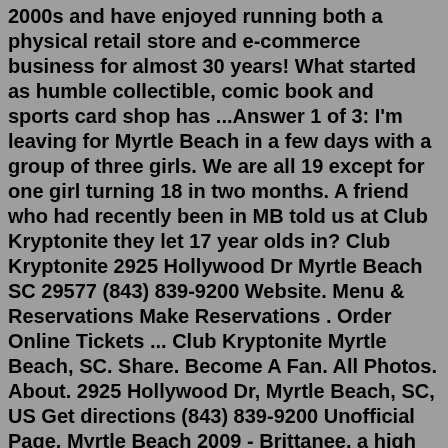2000s and have enjoyed running both a physical retail store and e-commerce business for almost 30 years! What started as humble collectible, comic book and sports card shop has ...Answer 1 of 3: I'm leaving for Myrtle Beach in a few days with a group of three girls. We are all 19 except for one girl turning 18 in two months. A friend who had recently been in MB told us at Club Kryptonite they let 17 year olds in? Club Kryptonite 2925 Hollywood Dr Myrtle Beach SC 29577 (843) 839-9200 Website. Menu & Reservations Make Reservations . Order Online Tickets ... Club Kryptonite Myrtle Beach, SC. Share. Become A Fan. All Photos. About. 2925 Hollywood Dr, Myrtle Beach, SC, US Get directions (843) 839-9200 Unofficial Page. Myrtle Beach 2009 - Brittanee, a high school junior, traveled from her home in Rochester, New York to Myrtle Beach, South Carolina with a group of friends for spring break in April 2009. ... Brittanee went to Club Kryptonite with friends (the club has since closed down) and hung out on the